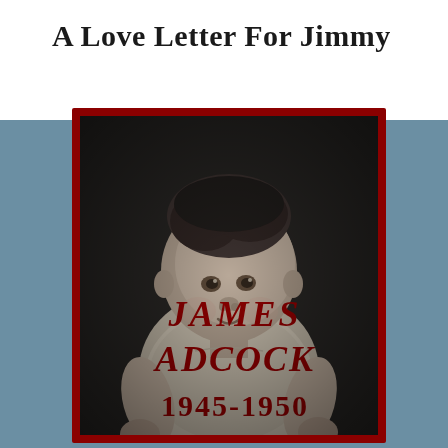A Love Letter For Jimmy
[Figure (photo): Black and white vintage photograph of a baby/young toddler sitting, overlaid with red handwritten text reading 'JAMES ADCOCK 1945-1950'. The photo has a dark background and the child is wearing light colored clothing. The image is framed with a red border and black inner border, with a small red notch/bookmark shape at the top center.]